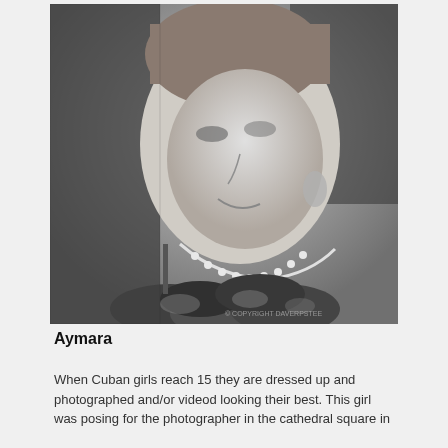[Figure (photo): Black and white portrait photograph of a young woman wearing a pearl necklace, decorative earrings, and a ruffled dress with floral embellishments. A black lace veil or shawl is draped around her. She is looking downward and smiling slightly. A copyright watermark is visible at the bottom right.]
Aymara
When Cuban girls reach 15 they are dressed up and photographed and/or videod looking their best. This girl was posing for the photographer in the cathedral square in